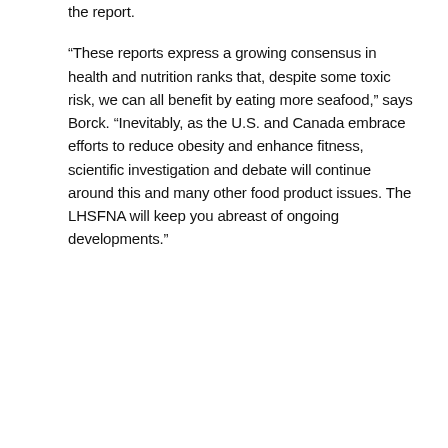the report.
“These reports express a growing consensus in health and nutrition ranks that, despite some toxic risk, we can all benefit by eating more seafood,” says Borck. “Inevitably, as the U.S. and Canada embrace efforts to reduce obesity and enhance fitness, scientific investigation and debate will continue around this and many other food product issues. The LHSFNA will keep you abreast of ongoing developments.”